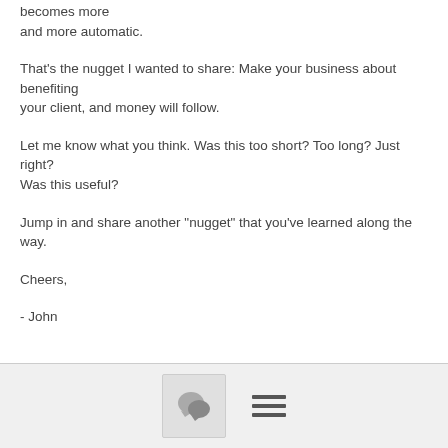becomes more and more automatic.
That's the nugget I wanted to share: Make your business about benefiting your client, and money will follow.
Let me know what you think. Was this too short? Too long? Just right?
Was this useful?
Jump in and share another "nugget" that you've learned along the way.
Cheers,
- John
[Figure (other): Footer bar with a comment/chat bubble icon button and a hamburger menu icon]